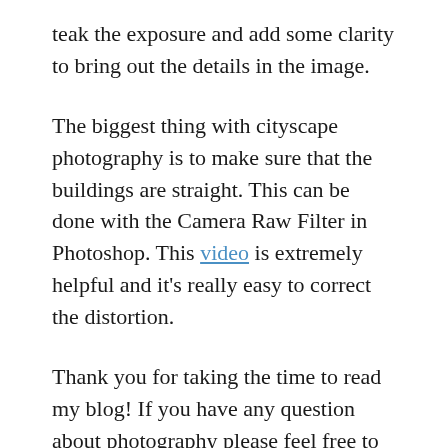teak the exposure and add some clarity to bring out the details in the image.
The biggest thing with cityscape photography is to make sure that the buildings are straight. This can be done with the Camera Raw Filter in Photoshop. This video is extremely helpful and it's really easy to correct the distortion.
Thank you for taking the time to read my blog! If you have any question about photography please feel free to email me.
dhammerling / July 20, 2020 / Uncategorized / Leave a comment